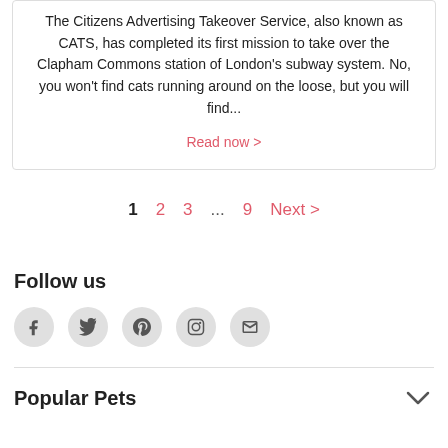The Citizens Advertising Takeover Service, also known as CATS, has completed its first mission to take over the Clapham Commons station of London's subway system. No, you won't find cats running around on the loose, but you will find...
Read now >
1  2  3  ...  9  Next >
Follow us
[Figure (other): Social media icons: Facebook, Twitter, Pinterest, Instagram, Email]
Popular Pets